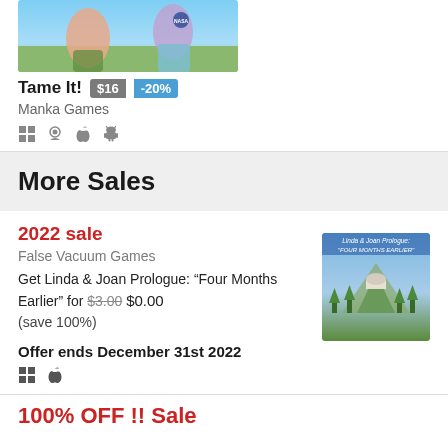[Figure (screenshot): Game cover image for Tame It! showing illustrated characters on a beach/field scene]
Tame It! $16 -20%
Manka Games
[Figure (illustration): Platform icons: Windows, avatar/itch, Apple, Android]
More Sales
2022 sale
False Vacuum Games
Get Linda & Joan Prologue: “Four Months Earlier” for $3.00 $0.00 (save 100%)
Offer ends December 31st 2022
[Figure (screenshot): Cover art for Linda & Joan Prologue: Four Months Earlier showing a hilltop observatory with trees]
100% OFF !! Sale